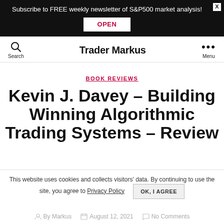Subscribe to FREE weekly newsletter of S&P500 market analysis! OPEN
Trader Markus — Search / Menu
BOOK REVIEWS
Kevin J. Davey – Building Winning Algorithmic Trading Systems – Review
This website uses cookies and collects visitors' data. By continuing to use the site, you agree to Privacy Policy  OK, I AGREE
By Markus   August 12, 2021   No Comments